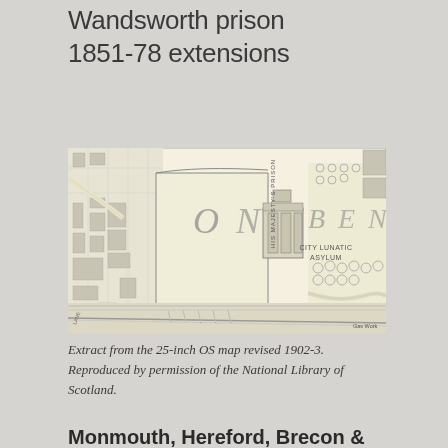Wandsworth prison
1851-78 extensions
[Figure (map): Extract from the 25-inch OS map revised 1902-3 showing Wandsworth area including His Majesty's Prison and City Lunatic Asylum]
Extract from the 25-inch OS map revised 1902-3.
Reproduced by permission of the National Library of Scotland.
Monmouth, Hereford, Brecon & Radnor